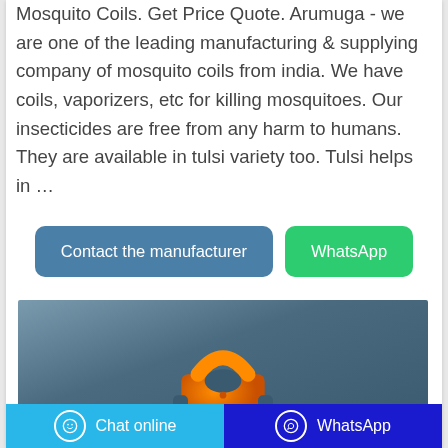Mosquito Coils. Get Price Quote. Arumuga - we are one of the leading manufacturing & supplying company of mosquito coils from india. We have coils, vaporizers, etc for killing mosquitoes. Our insecticides are free from any harm to humans. They are available in tulsi variety too. Tulsi helps in …
[Figure (other): Two buttons side by side: a blue-grey 'Contact the manufacturer' button and a green 'WhatsApp' button]
[Figure (photo): Product photo showing an orange mosquito coil holder/stand against a dark blue-grey background]
Chat online   WhatsApp